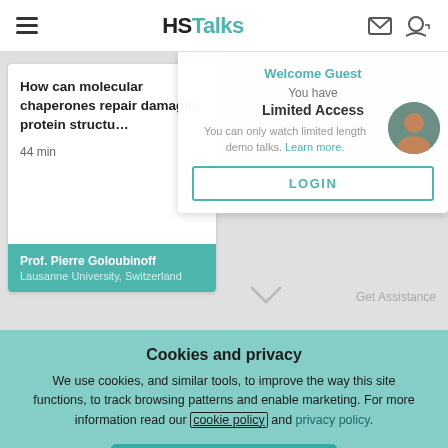HSTalks
How can molecular chaperones repair damaged protein structu…
44 min
Prof. Pierre Goloubinoff
Lausanne University, Switzerland
Welcome Guest
You have
Limited Access
You can only watch limited length demo talks. Learn more.
LOGIN
Get Assistance
Cookies and privacy
We use cookies, and similar tools, to improve the way this site functions, to track browsing patterns and enable marketing. For more information read our cookie policy and privacy policy.
ACCEPT COOKIES